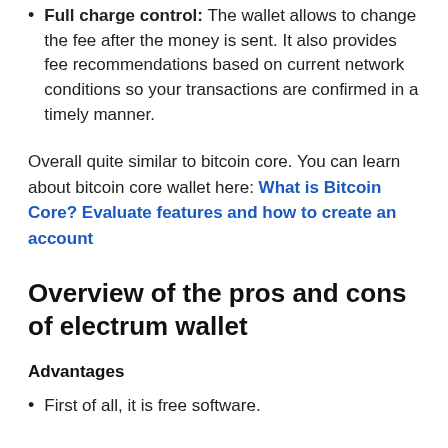Full charge control: The wallet allows to change the fee after the money is sent. It also provides fee recommendations based on current network conditions so your transactions are confirmed in a timely manner.
Overall quite similar to bitcoin core. You can learn about bitcoin core wallet here: What is Bitcoin Core? Evaluate features and how to create an account
Overview of the pros and cons of electrum wallet
Advantages
First of all, it is free software.